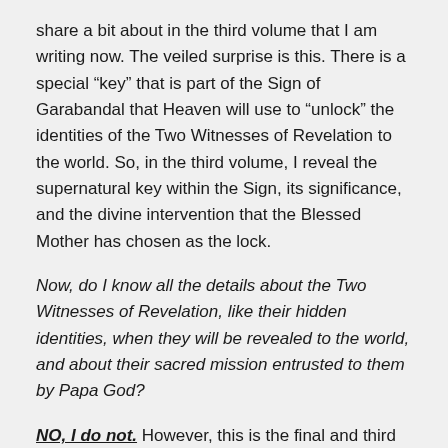share a bit about in the third volume that I am writing now. The veiled surprise is this. There is a special “key” that is part of the Sign of Garabandal that Heaven will use to “unlock” the identities of the Two Witnesses of Revelation to the world. So, in the third volume, I reveal the supernatural key within the Sign, its significance, and the divine intervention that the Blessed Mother has chosen as the lock.
Now, do I know all the details about the Two Witnesses of Revelation, like their hidden identities, when they will be revealed to the world, and about their sacred mission entrusted to them by Papa God?
NO, I do not. However, this is the final and third revelation that Papa God is permitting me to share with you all, and about the good sister of Christ. This is l...